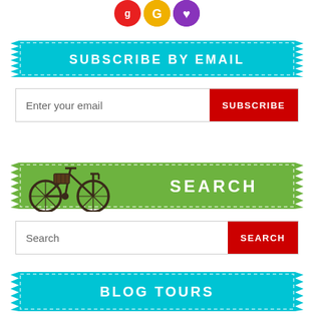[Figure (logo): Three social media icon circles: red, green/yellow, and purple, partially visible at top of page]
SUBSCRIBE BY EMAIL
[Figure (infographic): Email input field with placeholder 'Enter your email' and a red SUBSCRIBE button]
[Figure (illustration): Green banner with bicycle illustration and SEARCH text]
[Figure (infographic): Search input field with placeholder 'Search' and a red SEARCH button]
BLOG TOURS